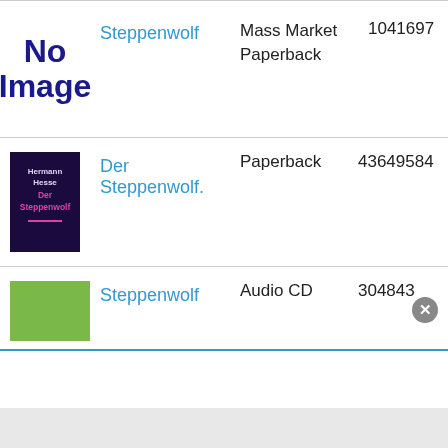[Figure (other): No Image placeholder box with bold dark blue text reading 'No Image']
Steppenwolf
Mass Market Paperback
1041697
[Figure (photo): Book cover thumbnail for 'Der Steppenwolf' by Hermann Hesse, dark background with pink/magenta title text]
Der Steppenwolf.
Paperback
43649584
[Figure (photo): Partial green book cover thumbnail for Steppenwolf Audio CD]
Steppenwolf
Audio CD
304843